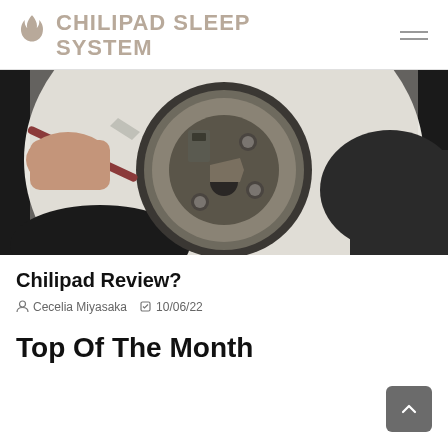CHILIPAD SLEEP SYSTEM
[Figure (photo): Close-up photo of someone using a tool to work on a mechanical pump or motor component, showing metal parts, bolts, and screws being serviced.]
Chilipad Review?
Cecelia Miyasaka   10/06/22
Top Of The Month